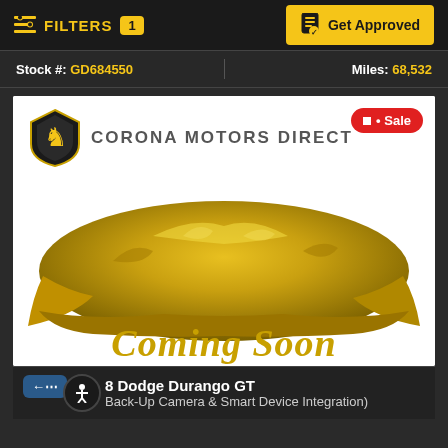FILTERS 1 | Get Approved
Stock #: GD684550 | Miles: 68,532
[Figure (photo): Corona Motors Direct dealership placeholder image showing a car covered with a golden/yellow drape cloth, with 'Coming Soon' text in gold cursive script. The Corona Motors Direct logo with a lion shield emblem appears in the upper left. A red 'Sale' badge appears in the upper right corner.]
8 Dodge Durango GT
Back-Up Camera & Smart Device Integration)